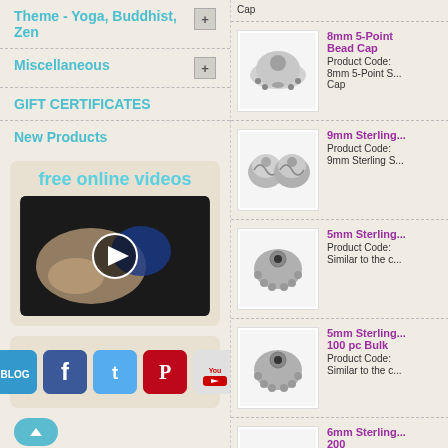Theme - Yoga, Buddhist, Zen
Miscellaneous
GIFT CERTIFICATES
New Products
[Figure (screenshot): Free online videos promo box with video thumbnail showing hands working with jewelry and a play button]
[Figure (screenshot): Social media links panel with Blog, Facebook, Twitter, Pinterest, YouTube icons]
Cap
8mm 5-Point Bead Cap
Product Code:
8mm 5-Point S... Cap
9mm Sterling...
Product Code:
9mm Sterling S...
5mm Sterling...
Product Code:
Similar to the c...
5mm Sterling... 100 pc Bulk
Product Code:
Similar to the c...
6mm Sterling... 200
Product Code:
6x2.5mm bead...